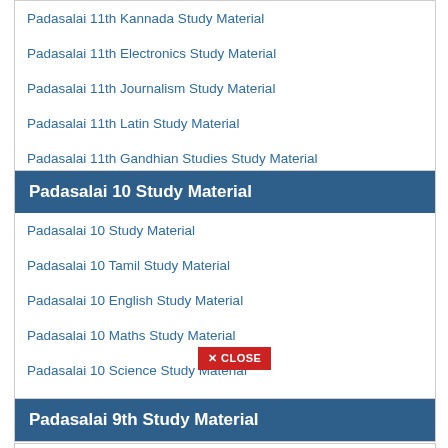Padasalai 11th Kannada Study Material
Padasalai 11th Electronics Study Material
Padasalai 11th Journalism Study Material
Padasalai 11th Latin Study Material
Padasalai 11th Gandhian Studies Study Material
Padasalai 10 Study Material
Padasalai 10 Study Material
Padasalai 10 Tamil Study Material
Padasalai 10 English Study Material
Padasalai 10 Maths Study Material
Padasalai 10 Science Study Material
Padasalai 10 Social Science Study Material
Padasalai 9th Study Material
Padasalai 9 Study Material